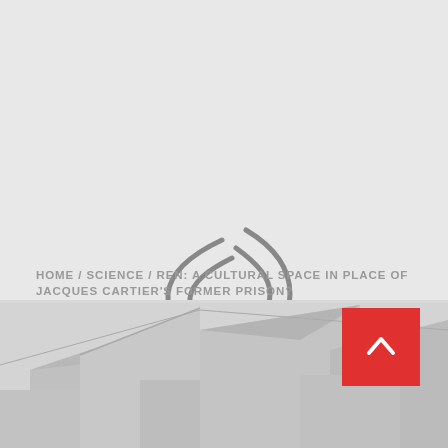[Figure (other): Loading spinner / parentheses icon — two curved arc shapes forming an open parenthesis on the left and closed parenthesis on the right, rendered in gray on a light gray background]
HOME / SCIENCE / REN: A CULTURAL SPACE IN PLACE OF JACQUES CARTIER'S FORMER PRISON?
[Figure (photo): Partial photograph showing rooftops of buildings with peaked roofs, in muted gray tones, cropped at the bottom of the page]
[Figure (other): Red back-to-top button with a white upward-pointing chevron/arrow]